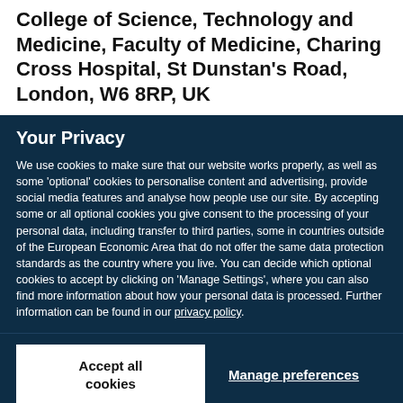College of Science, Technology and Medicine, Faculty of Medicine, Charing Cross Hospital, St Dunstan's Road, London, W6 8RP, UK
Your Privacy
We use cookies to make sure that our website works properly, as well as some 'optional' cookies to personalise content and advertising, provide social media features and analyse how people use our site. By accepting some or all optional cookies you give consent to the processing of your personal data, including transfer to third parties, some in countries outside of the European Economic Area that do not offer the same data protection standards as the country where you live. You can decide which optional cookies to accept by clicking on 'Manage Settings', where you can also find more information about how your personal data is processed. Further information can be found in our privacy policy.
Accept all cookies
Manage preferences